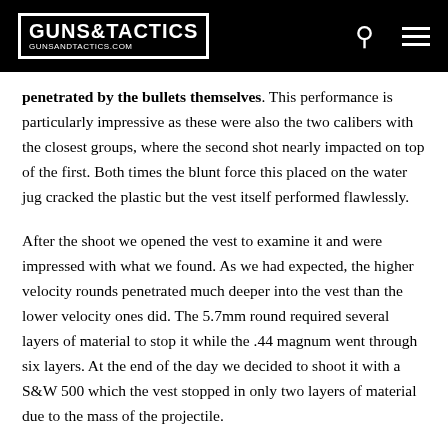GUNS&TACTICS GUNSANDTACTICS.COM
penetrated by the bullets themselves. This performance is particularly impressive as these were also the two calibers with the closest groups, where the second shot nearly impacted on top of the first. Both times the blunt force this placed on the water jug cracked the plastic but the vest itself performed flawlessly.

After the shoot we opened the vest to examine it and were impressed with what we found. As we had expected, the higher velocity rounds penetrated much deeper into the vest than the lower velocity ones did. The 5.7mm round required several layers of material to stop it while the .44 magnum went through six layers. At the end of the day we decided to shoot it with a S&W 500 which the vest stopped in only two layers of material due to the mass of the projectile.